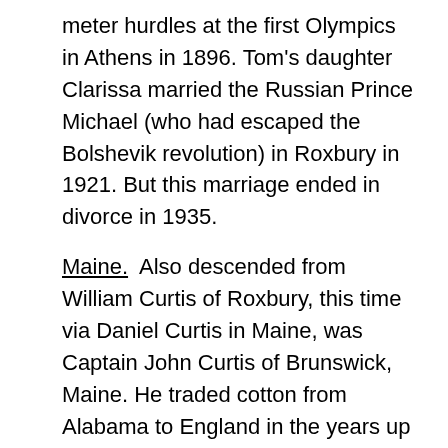meter hurdles at the first Olympics in Athens in 1896. Tom's daughter Clarissa married the Russian Prince Michael (who had escaped the Bolshevik revolution) in Roxbury in 1921. But this marriage ended in divorce in 1935.
Maine. Also descended from William Curtis of Roxbury, this time via Daniel Curtis in Maine, was Captain John Curtis of Brunswick, Maine. He traded cotton from Alabama to England in the years up to the Civil War. He was with his ship in Mobile in 1861 when Alabama became the fourth state to secede from the Union. A Captain John Curtis Memorial Library was dedicated in Brunswick by his son William in 1904.
From Maine, in this case Portland, came Cyrus Hermann Kotzschmar Curtis. He was forced to leave to be close after his first year in 1866, and...